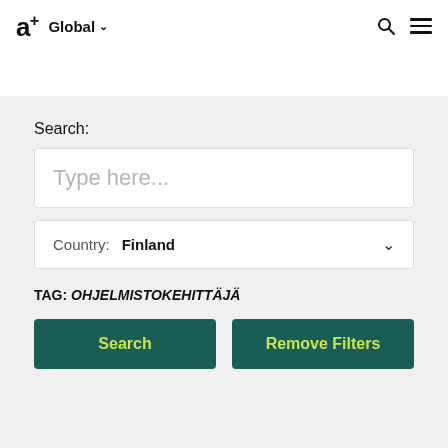a+ Global
Search:
Type here...
Country: Finland
TAG: OHJELMISTOKEHITTÄJÄ
Search
Remove Filters